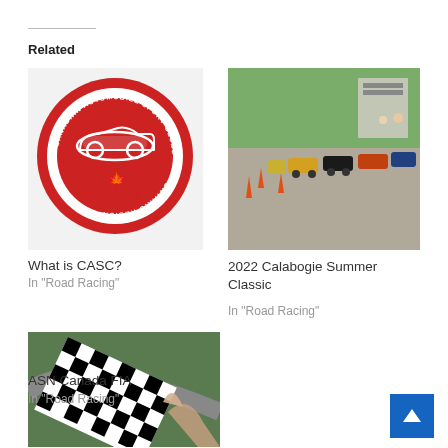Related
[Figure (logo): CASC Ontario Region logo — circular red badge with car silhouette and casc.on.ca text]
What is CASC?
In "Road Racing"
[Figure (photo): Row of racing cars lined up on track with orange cones, trees and grandstand in background — 2022 Calabogie Summer Classic]
2022 Calabogie Summer Classic
In "Road Racing"
[Figure (photo): Checkered flag being waved at a racing circuit — ASN Canada FIA]
ASN Canada FIA
In "Road Racing"